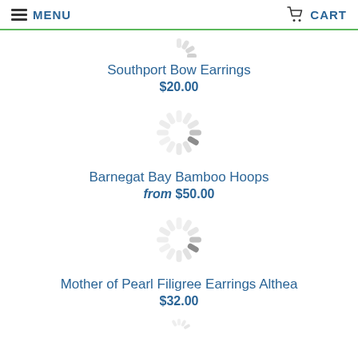MENU  CART
[Figure (illustration): Loading spinner icon (partially visible at top)]
Southport Bow Earrings
$20.00
[Figure (illustration): Loading spinner icon]
Barnegat Bay Bamboo Hoops
from $50.00
[Figure (illustration): Loading spinner icon]
Mother of Pearl Filigree Earrings Althea
$32.00
[Figure (illustration): Loading spinner icon (partially visible at bottom)]